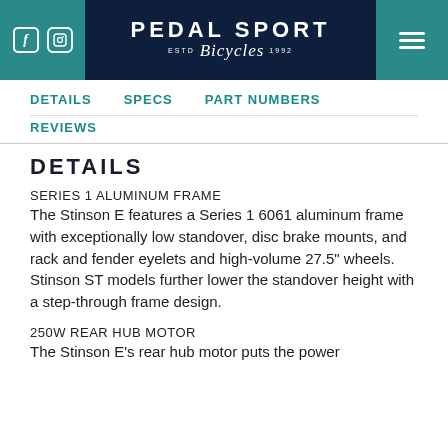PEDAL SPORT Bicycles ESTD 1992
DETAILS   SPECS   PART NUMBERS   REVIEWS
DETAILS
SERIES 1 ALUMINUM FRAME
The Stinson E features a Series 1 6061 aluminum frame with exceptionally low standover, disc brake mounts, and rack and fender eyelets and high-volume 27.5" wheels. Stinson ST models further lower the standover height with a step-through frame design.
250W REAR HUB MOTOR
The Stinson E's rear hub motor puts the power